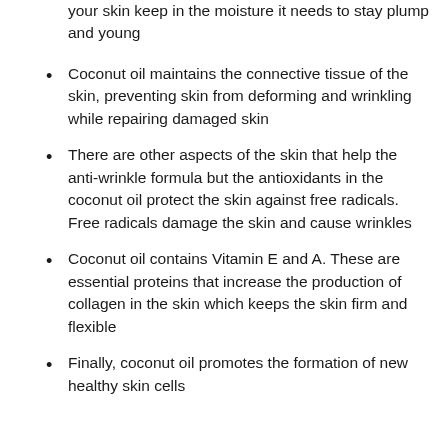your skin keep in the moisture it needs to stay plump and young
Coconut oil maintains the connective tissue of the skin, preventing skin from deforming and wrinkling while repairing damaged skin
There are other aspects of the skin that help the anti-wrinkle formula but the antioxidants in the coconut oil protect the skin against free radicals. Free radicals damage the skin and cause wrinkles
Coconut oil contains Vitamin E and A. These are essential proteins that increase the production of collagen in the skin which keeps the skin firm and flexible
Finally, coconut oil promotes the formation of new healthy skin cells